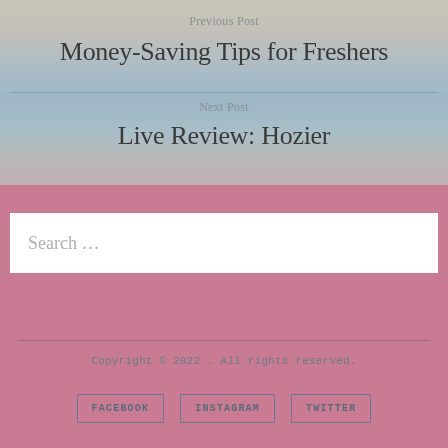Previous Post
Money-Saving Tips for Freshers
Next Post
Live Review: Hozier
Search …
Copyright © 2022 . All rights reserved.
FACEBOOK
INSTAGRAM
TWITTER